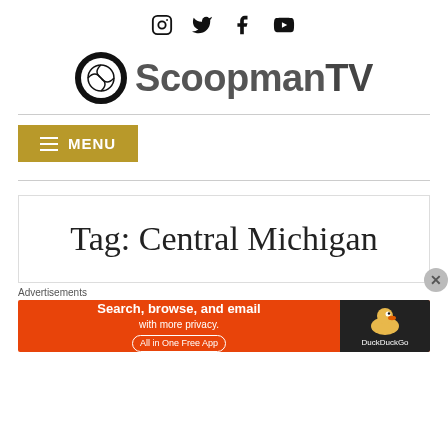Social media icons: Instagram, Twitter, Facebook, YouTube
[Figure (logo): ScoopmanTV logo with basketball icon and text]
[Figure (other): Gold/tan MENU button with hamburger icon]
Tag: Central Michigan
Advertisements
[Figure (other): DuckDuckGo advertisement banner: Search, browse, and email with more privacy. All in One Free App]